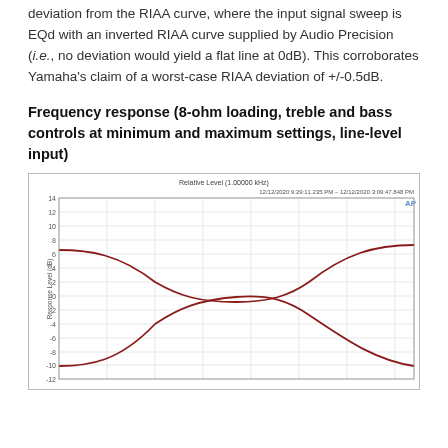deviation from the RIAA curve, where the input signal sweep is EQd with an inverted RIAA curve supplied by Audio Precision (i.e., no deviation would yield a flat line at 0dB). This corroborates Yamaha's claim of a worst-case RIAA deviation of +/-0.5dB.
Frequency response (8-ohm loading, treble and bass controls at minimum and maximum settings, line-level input)
[Figure (continuous-plot): Frequency response chart showing treble and bass tone controls at minimum and maximum settings. Two curves cross in the middle of the frequency range - one curves upward at both bass and treble ends (maximum setting), and one curves downward at both ends (minimum setting). Y-axis shows Response Level in dB from about -12 to 14. X-axis shows frequency. Title reads 'Relative Level (1.00000 kHz)'. Date/time stamp: 12/12/2020 9:29:11.235 PM - 12/12/2020 3:09:47.848 PM.]